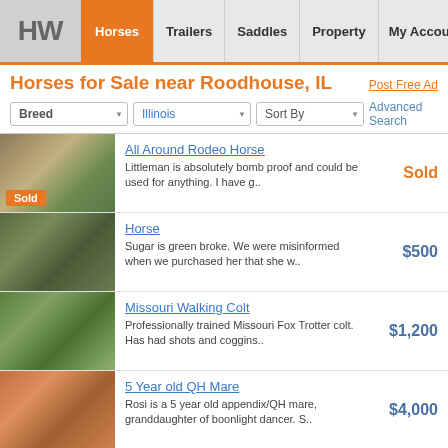[Figure (screenshot): Website header with HW logo and navigation tabs: Horses (active/orange), Trailers, Saddles, Property, My Account]
Horses for Sale near Roodhouse, IL
Post Free Ad
Breed | Illinois | Sort By | Advanced Search
All Around Rodeo Horse
Littleman is absolutely bomb proof and could be used for anything. I have g..
Sold
Horse
Sugar is green broke. We were misinformed when we purchased her that she w..
$500
Missouri Walking Colt
Professionally trained Missouri Fox Trotter colt. Has had shots and coggins..
$1,200
5 Year old QH Mare
Rosi is a 5 year old appendix/QH mare, granddaughter of boonlight dancer. S..
$4,000
Beautiful TWH
Bell stands for farrier - Listens to cues , Very gentle & affectionate ..
$3,500
Gelding
Amber Champagne chocolate mane,tail and stockings Hazel eyes utd on shots c..
$3,500
Missouri Walking Colt
simply beautiful yearling just finihed professional training, wormed, coggi..
$1,200